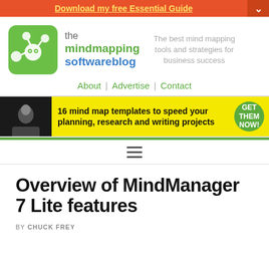Download my free Essential Guide
[Figure (logo): The Mind Mapping Software Blog logo with green icon and text]
The best mind mapping tools and strategies for business success
About | Advertise | Contact
[Figure (infographic): Advertisement banner: 16 mind map templates to speed your planning, research and writing projects. GET THEM NOW!]
[Figure (other): Hamburger menu icon]
Overview of MindManager 7 Lite features
BY CHUCK FREY